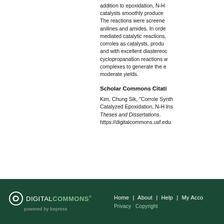addition to epoxidation, N-H catalysts smoothly produce... The reactions were screened anilines and amides. In order mediated catalytic reactions, corroles as catalysts, produ and with excellent diastereoselectivity. cyclopropanation reactions with complexes to generate the e moderate yields.
Scholar Commons Citation
Kim, Chung Sik, "Corrole Synth Catalyzed Epoxidation, N-H Ins Theses and Dissertations. https://digitalcommons.usf.edu
Home | About | Help | My Account   Privacy   Copyright